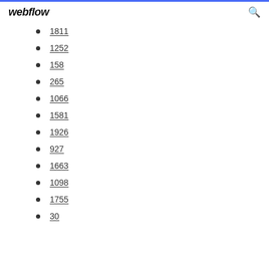webflow
1811
1252
158
265
1066
1581
1926
927
1663
1098
1755
30